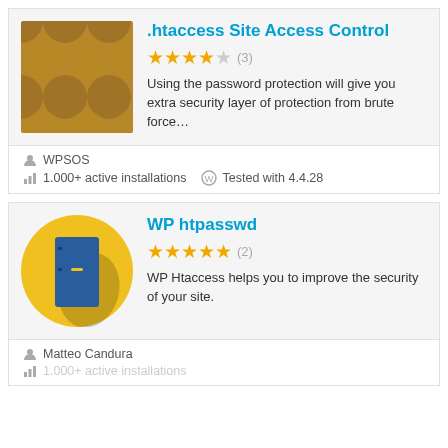[Figure (illustration): Brown dotted/polka-dot pattern image for .htaccess Site Access Control plugin]
.htaccess Site Access Control
★★★★☆ (3)
Using the password protection will give you extra security layer of protection from brute force…
WPSOS
1.000+ active installations   Tested with 4.4.28
[Figure (illustration): Yellow circle with blue door icon for WP htpasswd plugin]
WP htpasswd
★★★★★ (2)
WP Htaccess helps you to improve the security of your site.
Matteo Candura